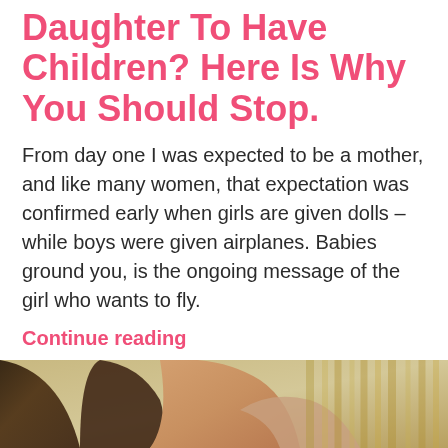Daughter To Have Children? Here Is Why You Should Stop.
From day one I was expected to be a mother, and like many women, that expectation was confirmed early when girls are given dolls – while boys were given airplanes. Babies ground you, is the ongoing message of the girl who wants to fly.
Continue reading
MARGO / NOVEMBER 28, 2015 / 6 COMMENTS
[Figure (photo): Partial view of a person's face/portrait photo at the bottom of the page]